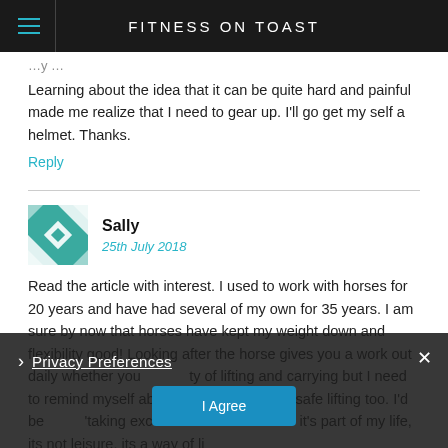FITNESS ON TOAST
Learning about the idea that it can be quite hard and painful made me realize that I need to gear up. I'll go get my self a helmet. Thanks.
Reply
Sally
25th July 2018
Read the article with interest. I used to work with horses for 20 years and have had several of my own for 35 years. I am sure by now that horses have kept my weight down and flexibility good! Looking after the horse gives you a work out daily whether you... ty of lifting and carrying but I need to remind myself about good posture and safe lifting too. I'd be... 'taking excercise' but with horses it's part of my life, its not leisure, its a way of life.
Privacy Preferences
I Agree